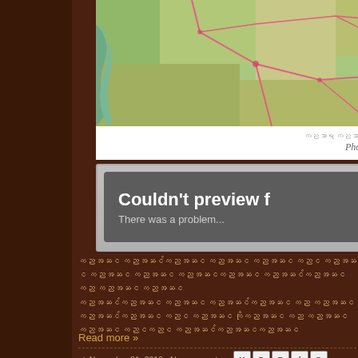[Figure (map): Aerial/satellite map view showing land area with roads marked in pink/red lines overlaid on a region, partially cropped at top]
ကညငနမ Photo: Google Map
[Figure (screenshot): Preview error box showing 'Couldn't preview f...' and 'There was a problem...' message on dark grey background]
Myanmar script text block 1
Myanmar script text block 2
Read more »
at November 01, 2019   No comments: